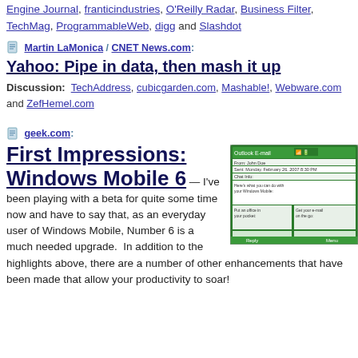Engine Journal, franticindustries, O'Reilly Radar, Business Filter, TechMag, ProgrammableWeb, digg and Slashdot
Martin LaMonica / CNET News.com: Yahoo: Pipe in data, then mash it up Discussion: TechAddress, cubicgarden.com, Mashable!, Webware.com and ZefHemel.com
geek.com: First Impressions: Windows Mobile 6 — I've been playing with a beta for quite some time now and have to say that, as an everyday user of Windows Mobile, Number 6 is a much needed upgrade. In addition to the highlights above, there are a number of other enhancements that have been made that allow your productivity to soar!
[Figure (screenshot): Screenshot of a Windows Mobile 6 device screen showing email/messaging interface]